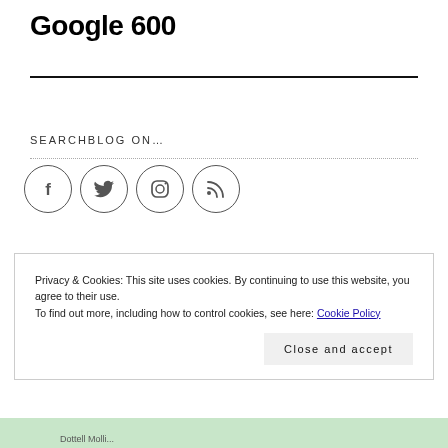Google 600
SEARCHBLOG ON…
[Figure (illustration): Four social media icon circles in a row: Facebook, Twitter, Instagram, RSS feed]
Privacy & Cookies: This site uses cookies. By continuing to use this website, you agree to their use.
To find out more, including how to control cookies, see here: Cookie Policy
Close and accept